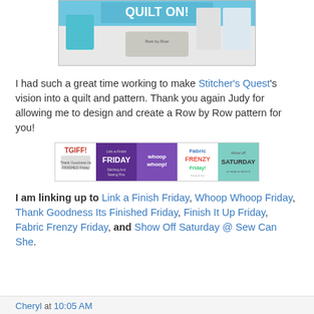[Figure (photo): Photo of a quilt display table with 'Quilton' signage and a basket of items labeled 'Row by Row', partially cropped at top.]
I had such a great time working to make Stitcher's Quest's vision into a quilt and pattern.  Thank you again Judy for allowing me to design and create a Row by Row pattern for you!
[Figure (infographic): Banner showing five linked blog event logos: TGIFF, Link-a-Finish Friday, Whoop Whoop, Fabric Frenzy Friday!, Show Off Saturday]
I am linking up to Link a Finish Friday, Whoop Whoop Friday, Thank Goodness Its Finished Friday, Finish It Up Friday, Fabric Frenzy Friday, and Show Off Saturday @ Sew Can She.
Cheryl at 10:05 AM